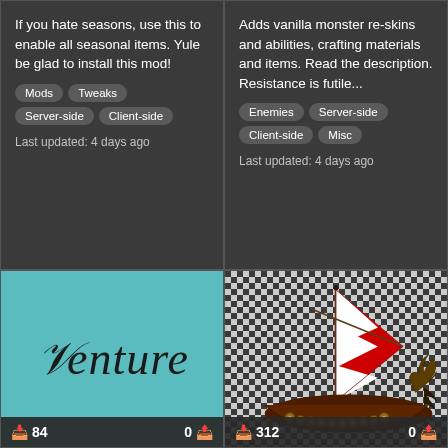If you hate seasons, use this to enable all seasonal items. Yule be glad to install this mod!
Mods
Tweaks
Server-side
Client-side
Last updated: 4 days ago
Adds vanilla monster re-skins and abilities, crafting materials and items. Read the description. Resistance is futile...
Enemies
Server-side
Client-side
Misc
Last updated: 4 days ago
[Figure (illustration): Teal background card with cursive italic text 'Venture']
[Figure (illustration): Viking longship with red and white striped sail, checkered background]
+ 84   0
+ 312   0